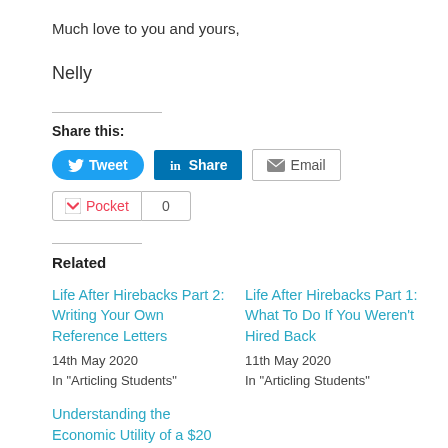Much love to you and yours,
Nelly
Share this:
[Figure (other): Share buttons: Tweet (Twitter), Share (LinkedIn), Email, Pocket with count 0]
Related
Life After Hirebacks Part 2: Writing Your Own Reference Letters
14th May 2020
In "Articling Students"
Life After Hirebacks Part 1: What To Do If You Weren't Hired Back
11th May 2020
In "Articling Students"
Understanding the Economic Utility of a $20 Bouquet of